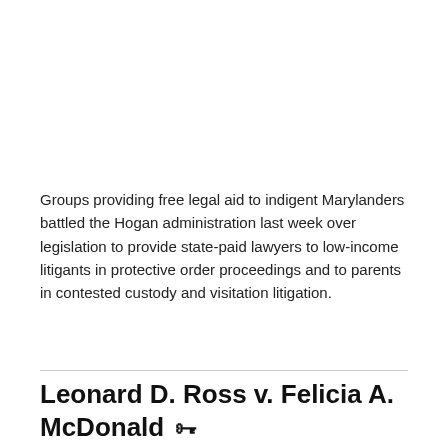Groups providing free legal aid to indigent Marylanders battled the Hogan administration last week over legislation to provide state-paid lawyers to low-income litigants in protective order proceedings and to parents in contested custody and visitation litigation.
Leonard D. Ross v. Felicia A. McDonald
Domestic violence: Protective order: Appeal mooted by expiration Leonard D. Ross v. Felicia A. McDonald CSA No. 1113, Sept. Term 2012. Unreported. Opinion by Graeff, J. Filed: July 1,